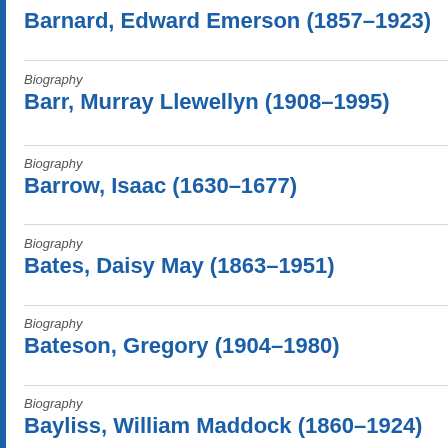Barnard, Edward Emerson (1857–1923)
Biography
Barr, Murray Llewellyn (1908–1995)
Biography
Barrow, Isaac (1630–1677)
Biography
Bates, Daisy May (1863–1951)
Biography
Bateson, Gregory (1904–1980)
Biography
Bayliss, William Maddock (1860–1924)